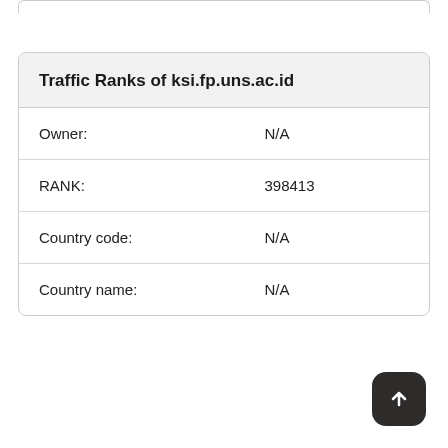|  |  |
| --- | --- |
| Owner: | N/A |
| RANK: | 398413 |
| Country code: | N/A |
| Country name: | N/A |